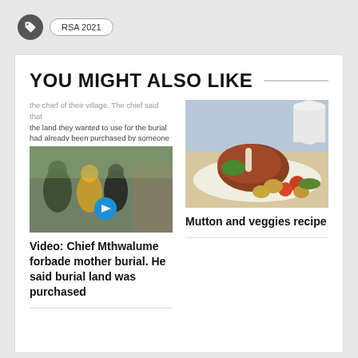RSA 2021
YOU MIGHT ALSO LIKE
the chief of their village. The chief said that the land they wanted to use for the burial had already been purchased by someone else. The family were forced to return their mother's body to the morgue.
[Figure (photo): Video thumbnail showing people outdoors with a play button overlay]
Video: Chief Mthwalume forbade mother burial. He said burial land was purchased
[Figure (photo): Photo of mutton and veggies dish on a plate]
Mutton and veggies recipe